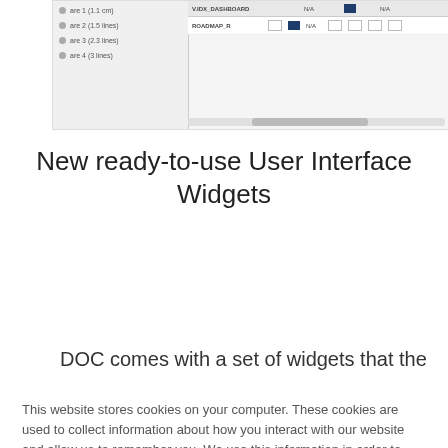[Figure (screenshot): Screenshot of a UI showing a table/grid interface with checkboxes, rows labeled with items, and columns with N/A values and checkboxes]
New ready-to-use User Interface Widgets
DOC comes with a set of widgets that the
This website stores cookies on your computer. These cookies are used to collect information about how you interact with our website and allow us to remember you. We use this information in order to improve and customize your browsing experience and for analytics and metrics about our visitors both on this website and other media. To find out more about the cookies we use, see our Privacy Policy

If you decline, your information won't be tracked when you visit this website. A single cookie will be used in your browser to remember your preference not to be tracked.